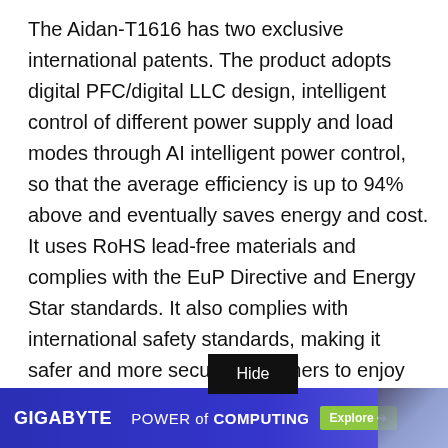The Aidan-T1616 has two exclusive international patents. The product adopts digital PFC/digital LLC design, intelligent control of different power supply and load modes through AI intelligent power control, so that the average efficiency is up to 94% above and eventually saves energy and cost. It uses RoHS lead-free materials and complies with the EuP Directive and Energy Star standards. It also complies with international safety standards, making it safer and more secure for gamers to enjoy overclocking.
[Figure (screenshot): GIGABYTE POWER of COMPUTING advertisement banner with Explore button and server image]